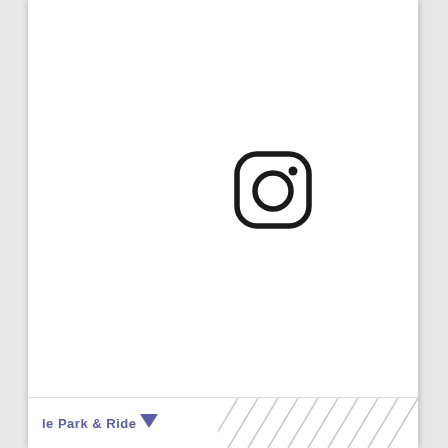[Figure (logo): Instagram logo icon — rounded square outline with a circle in the center and a small dot in the upper right corner, rendered in black on white background]
le Park & Ride